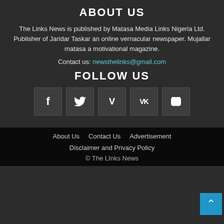ABOUT US
The Links News is published by Matasa Media Links Nigeria Ltd. Publisher of Jaridar Taskar an online vernacular newspaper. Mujallar matasa a motivational magazine.
Contact us: newsthelinks@gmail.com
FOLLOW US
[Figure (infographic): Row of 5 social media icon buttons: Facebook (f), Twitter (bird), Vimeo (V), VK (VK), YouTube (play button), displayed as dark square tiles]
About Us   Contact Us   Advertisement
Disclaimer and Privacy Policy
© The LInks News